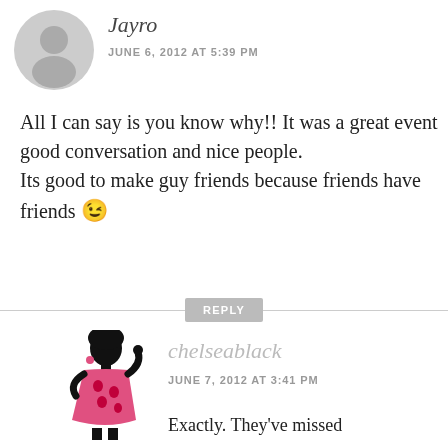[Figure (illustration): Generic grey user avatar silhouette circle]
Jayro
JUNE 6, 2012 AT 5:39 PM
All I can say is you know why!! It was a great event good conversation and nice people.
Its good to make guy friends because friends have friends 😉
REPLY
[Figure (illustration): Stylized silhouette of a woman in a pink polka-dot dress, avatar for chelseablack]
chelseablack
JUNE 7, 2012 AT 3:41 PM
Exactly. They've missed